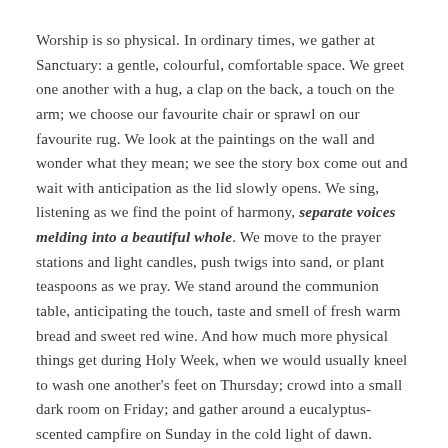Worship is so physical. In ordinary times, we gather at Sanctuary: a gentle, colourful, comfortable space. We greet one another with a hug, a clap on the back, a touch on the arm; we choose our favourite chair or sprawl on our favourite rug. We look at the paintings on the wall and wonder what they mean; we see the story box come out and wait with anticipation as the lid slowly opens. We sing, listening as we find the point of harmony, separate voices melding into a beautiful whole. We move to the prayer stations and light candles, push twigs into sand, or plant teaspoons as we pray. We stand around the communion table, anticipating the touch, taste and smell of fresh warm bread and sweet red wine. And how much more physical things get during Holy Week, when we would usually kneel to wash one another's feet on Thursday; crowd into a small dark room on Friday; and gather around a eucalyptus-scented campfire on Sunday in the cold light of dawn.